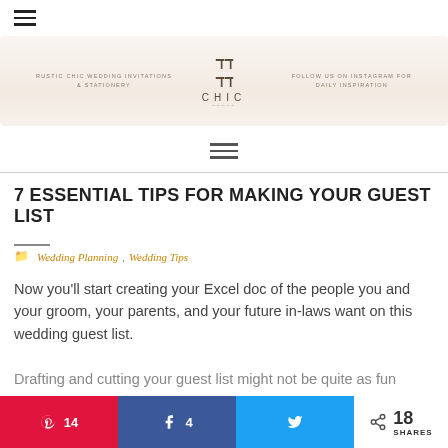[Figure (logo): Rustic Chic wedding invitations and stationery website banner with logo in center, left text 'RUSTIC CHIC WEDDING INVITATIONS & STATIONERY' and right text 'FOLLOW US ON INSTAGRAM FOR DAILY INSPIRATION']
7 ESSENTIAL TIPS FOR MAKING YOUR GUEST LIST
Wedding Planning, Wedding Tips
Now you'll start creating your Excel doc of the people you and your groom, your parents, and your future in-laws want on this wedding guest list.
Drafting and cutting your guest list might not be quite as fun
14 Pinterest shares, 4 Facebook shares, Twitter share, 18 total SHARES